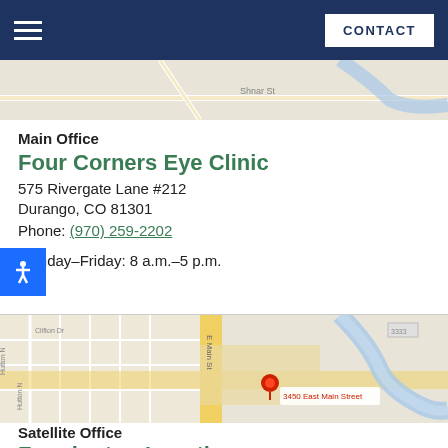CONTACT
[Figure (map): Partial map image at top of page showing street layout]
Main Office
Four Corners Eye Clinic
575 Rivergate Lane #212
Durango, CO 81301
Phone: (970) 259-2202
Monday–Friday: 8 a.m.–5 p.m.
[Figure (map): Google map showing location pin at 3450 East Main Street with river and street grid]
Satellite Office
Farmington Location